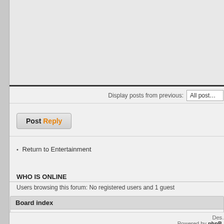[Figure (screenshot): Top gray content area continuation from above the fold, with dark bottom border]
Display posts from previous:  All posts
[Figure (screenshot): Post Reply button with bold 'Post' in black and 'Reply' in orange]
Return to Entertainment
WHO IS ONLINE
Users browsing this forum: No registered users and 1 guest
Board index
Des... Powered by phpB...